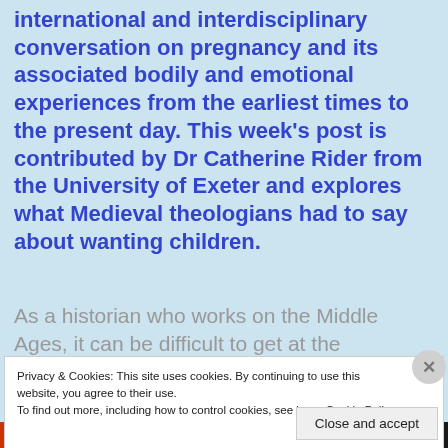international and interdisciplinary conversation on pregnancy and its associated bodily and emotional experiences from the earliest times to the present day. This week's post is contributed by Dr Catherine Rider from the University of Exeter and explores what Medieval theologians had to say about wanting children.
As a historian who works on the Middle Ages, it can be difficult to get at the experience of
Privacy & Cookies: This site uses cookies. By continuing to use this website, you agree to their use. To find out more, including how to control cookies, see here: Cookie Policy
Close and accept